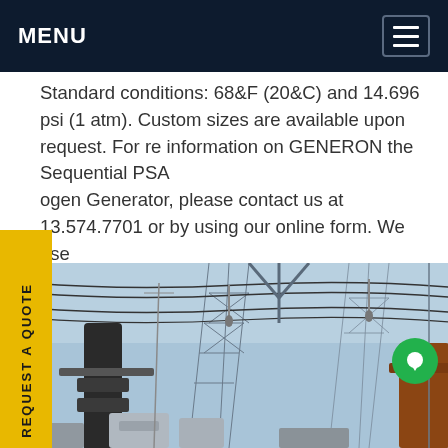MENU
Standard conditions: 68&F (20&C) and 14.696 psi (1 atm). Custom sizes are available upon request. For more information on GENERON the Sequential PSA Nitrogen Generator, please contact us at 713.574.7701 or by using our online form. We use cookies to personalize and enhance your experience on our site.Get price
[Figure (photo): Looking up at electrical power substation infrastructure with high-voltage transmission lines, steel lattice towers, insulators, and utility equipment against a blue sky.]